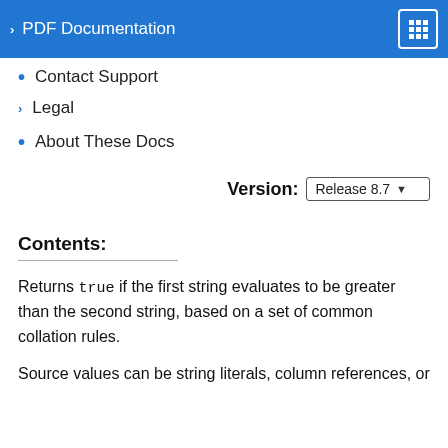PDF Documentation
Contact Support
Legal
About These Docs
Version: Release 8.7
Contents:
Returns true if the first string evaluates to be greater than the second string, based on a set of common collation rules.
Source values can be string literals, column references, or